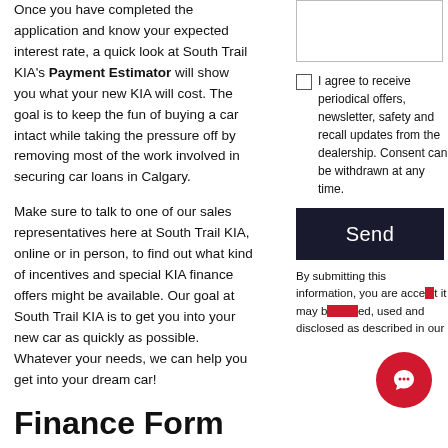Once you have completed the application and know your expected interest rate, a quick look at South Trail KIA's Payment Estimator will show you what your new KIA will cost. The goal is to keep the fun of buying a car intact while taking the pressure off by removing most of the work involved in securing car loans in Calgary.
Make sure to talk to one of our sales representatives here at South Trail KIA, online or in person, to find out what kind of incentives and special KIA finance offers might be available. Our goal at South Trail KIA is to get you into your new car as quickly as possible. Whatever your needs, we can help you get into your dream car!
Finance Form
Full Name*
I agree to receive periodical offers, newsletter, safety and recall updates from the dealership. Consent can be withdrawn at any time.
Send
By submitting this information, you are acce... it may b... used and disclosed as described in our